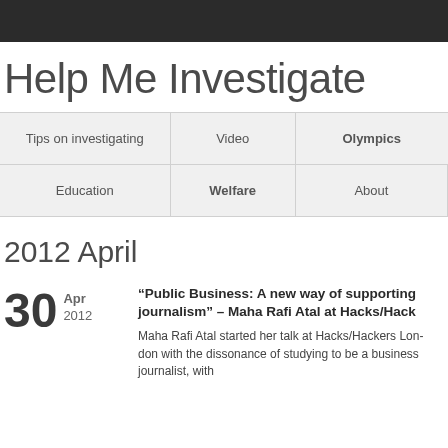Help Me Investigate
| Tips on investigating | Video | Olympics |
| --- | --- | --- |
| Education | Welfare | About |
2012 April
30 Apr 2012
“Public Business: A new way of supporting journalism” – Maha Rafi Atal at Hacks/Hackers
Maha Rafi Atal started her talk at Hacks/Hackers London with the dissonance of studying to be a business journalist, with